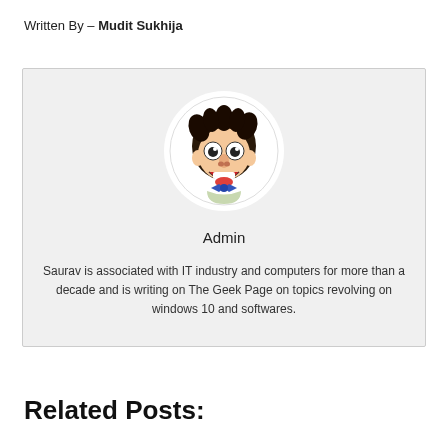Written By – Mudit Sukhija
[Figure (illustration): Cartoon avatar of a goofy-looking person with wild hair, big eyes, and a bow tie, displayed inside a circular white frame on a gray background. Below it shows the label 'Admin' and a short bio text.]
Admin
Saurav is associated with IT industry and computers for more than a decade and is writing on The Geek Page on topics revolving on windows 10 and softwares.
Related Posts: